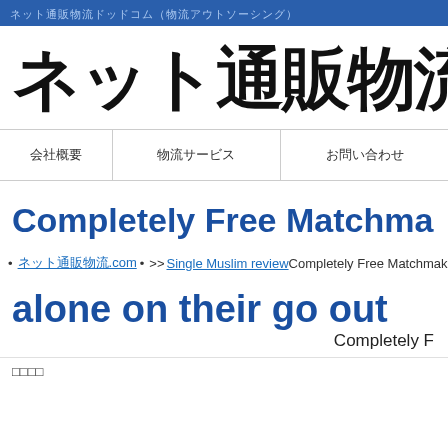ネット通販物流ドッドコム (header bar with Japanese text)
[Figure (logo): Japanese e-commerce logistics website logo: ネット通販物流.co (in large bold black kanji and Latin text)]
| 会社概要 | 物流サービス | お問い合わせ |
| --- | --- | --- |
Completely Free Matchma...
ネット通販物流.com • • >>Single Muslim review Completely Free Matchmaking in Scotland...
alone on their go out
Completely F...